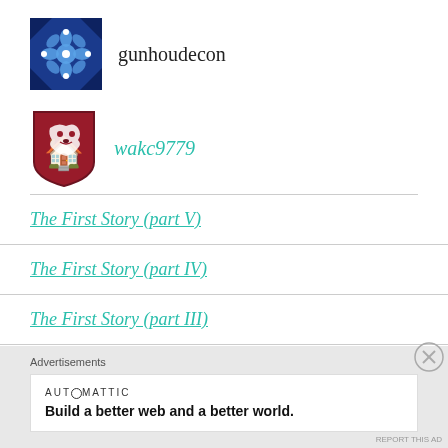[Figure (logo): Blue geometric/floral square tile logo for gunhoudecon]
gunhoudecon
[Figure (logo): Washington State University crimson shield logo for wakc9779]
wakc9779
The First Story (part V)
The First Story (part IV)
The First Story (part III)
The First Story (part II)
Advertisements
[Figure (logo): AUTOMATTIC logo]
Build a better web and a better world.
REPORT THIS AD